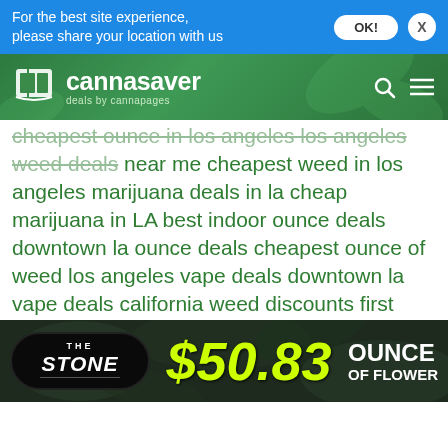For the best site experience, please share your location with us
[Figure (logo): Cannasaver logo with book icon and tagline 'deals by cannapages' on green background with cannabis leaf pattern]
cheapest ounce in los angeles los angeles weed deals near me cheapest weed in los angeles marijuana deals in la cheap marijuana in LA best indoor ounce deals downtown la ounce deals cheapest ounce of weed los angeles vape deals downtown la vape deals california weed discounts first time patient specials best shatter deals in los angeles dispensary deals in globeville denver medical marijuana weed deals medical marijuana discounts in north denver globeville medical marijuana dispensary 1136 yuma coupons 1136 yuma weed deals dispensary open early best dispensary discounts medical marijuana discounts caviar deals find weed deals near me marijuana savings weed deals on federal blvd the lodge on federal ounce deals near federal blvd ounce of bud
[Figure (advertisement): The Stone dispensary advertisement banner showing '$50.83 OUNCE OF FLOWER' in yellow/green text on dark background with cannabis leaf imagery]